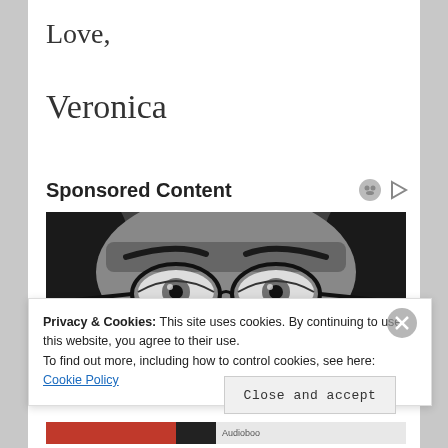Love,
Veronica
Sponsored Content
[Figure (photo): Black and white close-up photo of a person's eyes through round wire-frame glasses, with dark hair visible on sides]
Privacy & Cookies: This site uses cookies. By continuing to use this website, you agree to their use.
To find out more, including how to control cookies, see here:
Cookie Policy
Close and accept